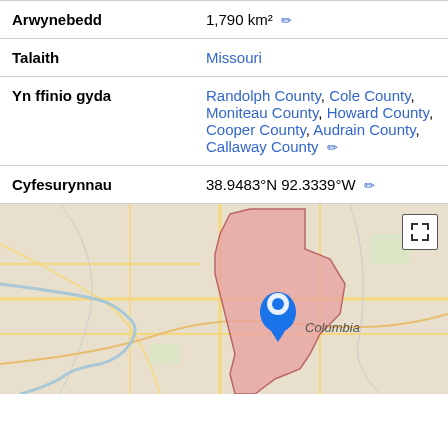| Arwynebedd | 1,790 km² |
| Talaith | Missouri |
| Yn ffinio gyda | Randolph County, Cole County, Moniteau County, Howard County, Cooper County, Audrain County, Callaway County |
| Cyfesurynnau | 38.9483°N 92.3339°W |
[Figure (map): Map showing Boone County, Missouri highlighted in pink with a blue location pin over Columbia. Roads and surrounding areas visible.]